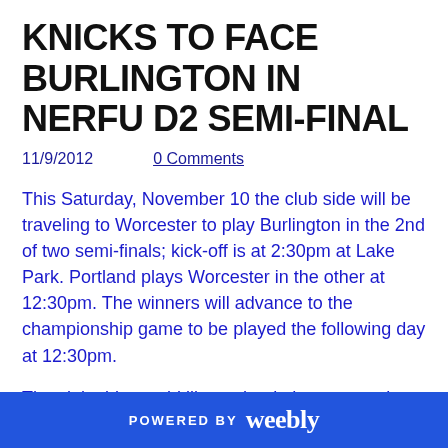KNICKS TO FACE BURLINGTON IN NERFU D2 SEMI-FINAL
11/9/2012    0 Comments
This Saturday, November 10 the club side will be traveling to Worcester to play Burlington in the 2nd of two semi-finals; kick-off is at 2:30pm at Lake Park.  Portland plays Worcester in the other at 12:30pm.  The winners will advance to the championship game to be played the following day at 12:30pm.
The club side would like to thank the community at large for its support throughout the season.
POWERED BY weebly